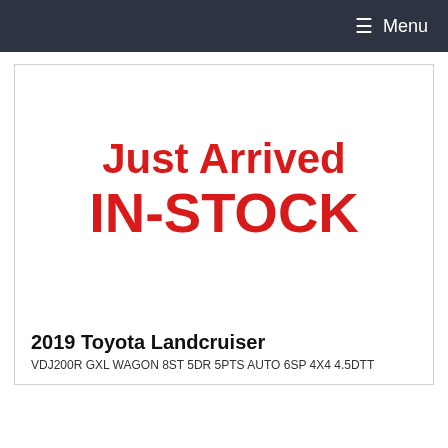≡ Menu
[Figure (illustration): Just Arrived IN-STOCK promotional banner image in bold red text on white background]
2019 Toyota Landcruiser
VDJ200R GXL WAGON 8ST 5DR 5PTS AUTO 6SP 4X4 4.5DTT